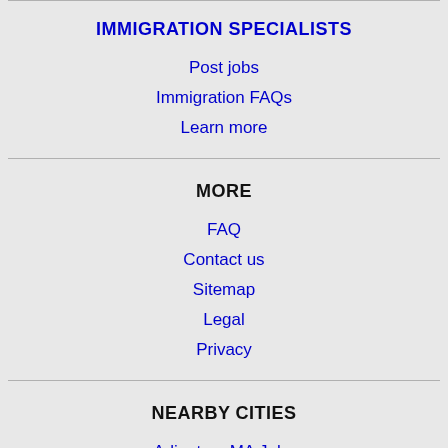IMMIGRATION SPECIALISTS
Post jobs
Immigration FAQs
Learn more
MORE
FAQ
Contact us
Sitemap
Legal
Privacy
NEARBY CITIES
Arlington, MA Jobs